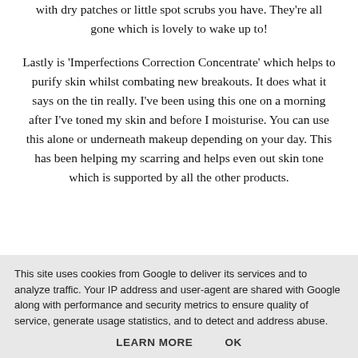with dry patches or little spot scrubs you have. They're all gone which is lovely to wake up to!
Lastly is 'Imperfections Correction Concentrate' which helps to purify skin whilst combating new breakouts. It does what it says on the tin really. I've been using this one on a morning after I've toned my skin and before I moisturise. You can use this alone or underneath makeup depending on your day. This has been helping my scarring and helps even out skin tone which is supported by all the other products.
This site uses cookies from Google to deliver its services and to analyze traffic. Your IP address and user-agent are shared with Google along with performance and security metrics to ensure quality of service, generate usage statistics, and to detect and address abuse.
LEARN MORE    OK